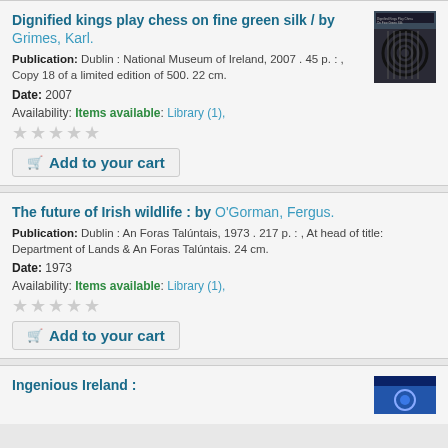Dignified kings play chess on fine green silk / by Grimes, Karl.
Publication: Dublin : National Museum of Ireland, 2007 . 45 p. : , Copy 18 of a limited edition of 500. 22 cm.
Date: 2007
Availability: Items available: Library (1),
Add to your cart
The future of Irish wildlife : by O'Gorman, Fergus.
Publication: Dublin : An Foras Talúntais, 1973 . 217 p. : , At head of title: Department of Lands & An Foras Talúntais. 24 cm.
Date: 1973
Availability: Items available: Library (1),
Add to your cart
Ingenious Ireland :